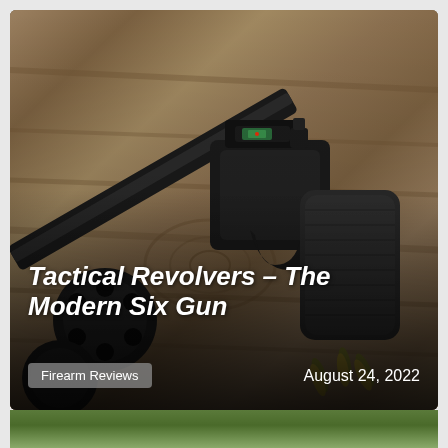[Figure (photo): A black tactical revolver with a red dot sight mounted on top, and a detached cylinder with bullets scattered on a weathered wooden surface. The revolver has a textured grip.]
Tactical Revolvers – The Modern Six Gun
Firearm Reviews
August 24, 2022